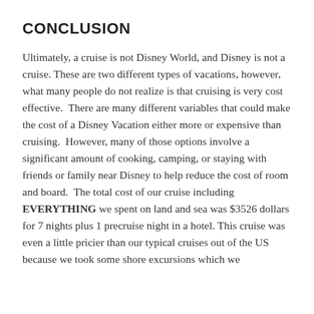CONCLUSION
Ultimately, a cruise is not Disney World, and Disney is not a cruise. These are two different types of vacations, however, what many people do not realize is that cruising is very cost effective.  There are many different variables that could make the cost of a Disney Vacation either more or expensive than cruising.  However, many of those options involve a significant amount of cooking, camping, or staying with friends or family near Disney to help reduce the cost of room and board.  The total cost of our cruise including EVERYTHING we spent on land and sea was $3526 dollars for 7 nights plus 1 precruise night in a hotel. This cruise was even a little pricier than our typical cruises out of the US because we took some shore excursions which we